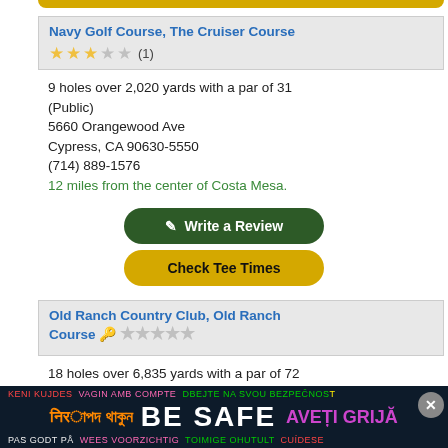[Figure (screenshot): Partial yellow button at top (Check Tee Times stub)]
Navy Golf Course, The Cruiser Course
★★★☆☆ (1)
9 holes over 2,020 yards with a par of 31
(Public)
5660 Orangewood Ave
Cypress, CA 90630-5550
(714) 889-1576
12 miles from the center of Costa Mesa.
Write a Review
Check Tee Times
Old Ranch Country Club, Old Ranch Course
18 holes over 6,835 yards with a par of 72
(Private)
[Figure (infographic): Safety advertisement banner at bottom: multilingual BE SAFE ad with close button]